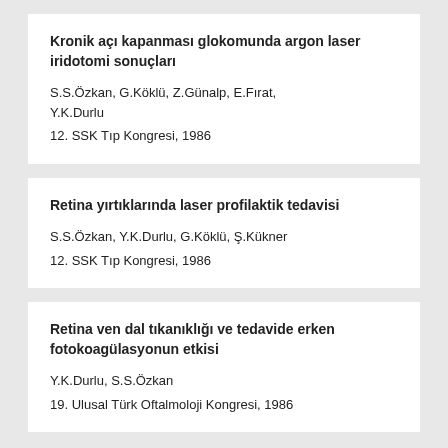Kronik açı kapanması glokomunda argon laser iridotomi sonuçları
S.S.Özkan, G.Köklü, Z.Günalp, E.Fırat, Y.K.Durlu
12. SSK Tıp Kongresi, 1986
Retina yırtıklarında laser profilaktik tedavisi
S.S.Özkan, Y.K.Durlu, G.Köklü, Ş.Kükner
12. SSK Tıp Kongresi, 1986
Retina ven dal tıkanıklığı ve tedavide erken fotokoagülasyonun etkisi
Y.K.Durlu, S.S.Özkan
19. Ulusal Türk Oftalmoloji Kongresi, 1986